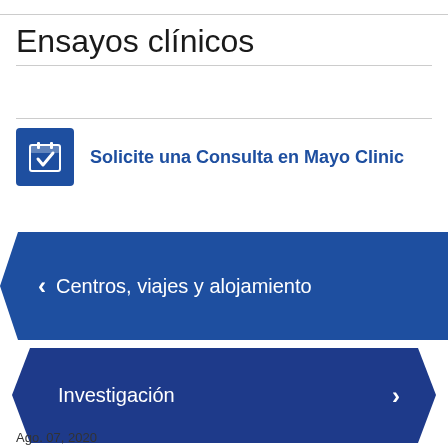Ensayos clínicos
Solicite una Consulta en Mayo Clinic
< Centros, viajes y alojamiento
Investigación >
Ago. 07, 2020